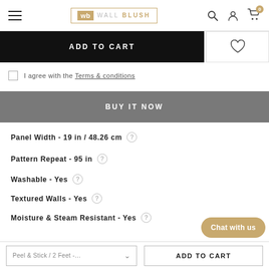WALL BLUSH — navigation bar with search, account, cart icons
ADD TO CART
I agree with the Terms & conditions
BUY IT NOW
Panel Width - 19 in / 48.26 cm
Pattern Repeat - 95 in
Washable - Yes
Textured Walls - Yes
Moisture & Steam Resistant - Yes
Peel & Stick / 2 Feet -…  ADD TO CART  Chat with us